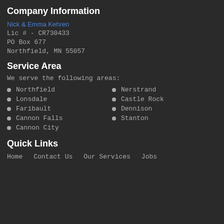Company Information
Nick & Emma Kehren
Lic # - CR730433
PO Box 677
Northfield, MN  55057
Service Area
We serve the following areas:
Northfield
Lonsdale
Faribault
Cannon Falls
Cannon City
Nerstrand
Castle Rock
Dennison
Stanton
Quick Links
Home   Contact Us   Our Services   Jobs